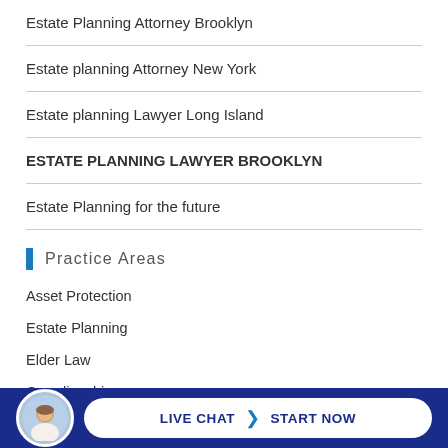Estate Planning Attorney Brooklyn
Estate planning Attorney New York
Estate planning Lawyer Long Island
ESTATE PLANNING LAWYER BROOKLYN
Estate Planning for the future
Practice Areas
Asset Protection
Estate Planning
Elder Law
Guardianship
Medicaid Planning
Retirement Planning
LIVE CHAT  START NOW